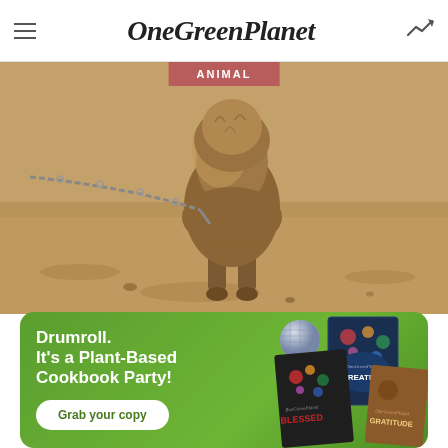OneGreenPlanet
[Figure (photo): A dog chained on sandy/arid ground, viewed from behind, with a metal chain visible]
ANIMAL
[Figure (infographic): Green promotional banner with text 'Drumroll. It's a Plant-Based Cookbook Party!' with a 'Grab your copy' button and plant-based cookbooks shown on the right]
Drumroll. It's a Plant-Based Cookbook Party!
Grab your copy